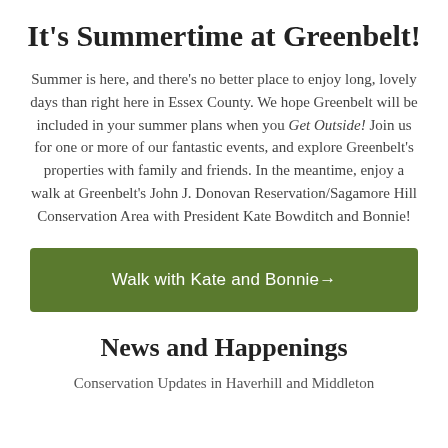It's Summertime at Greenbelt!
Summer is here, and there's no better place to enjoy long, lovely days than right here in Essex County. We hope Greenbelt will be included in your summer plans when you Get Outside! Join us for one or more of our fantastic events, and explore Greenbelt's properties with family and friends. In the meantime, enjoy a walk at Greenbelt's John J. Donovan Reservation/Sagamore Hill Conservation Area with President Kate Bowditch and Bonnie!
Walk with Kate and Bonnie →
News and Happenings
Conservation Updates in Haverhill and Middleton